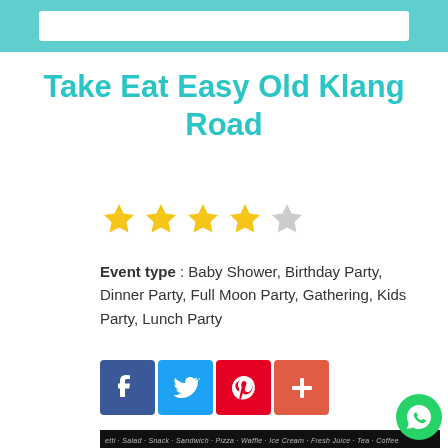Take Eat Easy Old Klang Road
[Figure (illustration): Five-star rating with 4 gold stars and 1 grey star]
Event type : Baby Shower, Birthday Party, Dinner Party, Full Moon Party, Gathering, Kids Party, Lunch Party
[Figure (illustration): Social media share buttons: Facebook (blue), Twitter (light blue), Pinterest (red), More/Plus (orange-red)]
[Figure (photo): Photo of Take Eat Easy restaurant storefront with neon signage reading 'Take Eat Easy' and a menu strip at top reading: etti · Salad · Snack · Sandwich · Pizza · Waffle · Ice Cream · Fresh Juice · Tea · Coffee]
[Figure (logo): WhatsApp green circle icon in bottom-right corner]